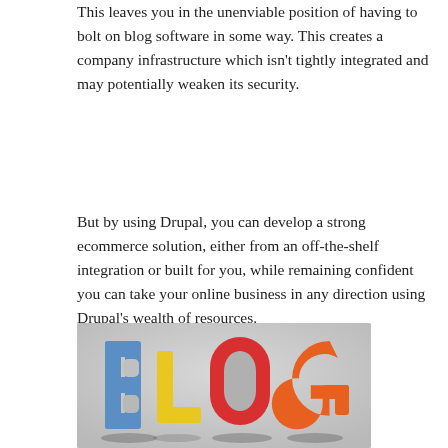This leaves you in the unenviable position of having to bolt on blog software in some way. This creates a company infrastructure which isn't tightly integrated and may potentially weaken its security.
But by using Drupal, you can develop a strong ecommerce solution, either from an off-the-shelf integration or built for you, while remaining confident you can take your online business in any direction using Drupal's wealth of resources.
[Figure (photo): Photo of colorful plastic letter magnets spelling 'BLOG' — B in blue, L in yellow, O in red, G in orange — arranged on a light gray surface.]